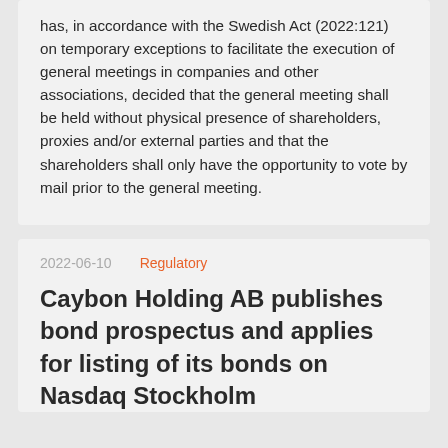has, in accordance with the Swedish Act (2022:121) on temporary exceptions to facilitate the execution of general meetings in companies and other associations, decided that the general meeting shall be held without physical presence of shareholders, proxies and/or external parties and that the shareholders shall only have the opportunity to vote by mail prior to the general meeting.
2022-06-10    Regulatory
Caybon Holding AB publishes bond prospectus and applies for listing of its bonds on Nasdaq Stockholm